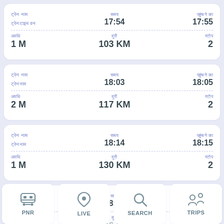| ट्रेन/रूट | समय | पहुंचने का समय |
| --- | --- | --- |
| ट्रेन नाम
ट्रेनटाइम वन | 17:54 | 17:55 |
| अवधि: 1 M | दूरी: 103 KM | स्टॉप: 2 |
| ट्रेन/रूट | समय | पहुंचने का समय |
| --- | --- | --- |
| ट्रेन नाम
ट्रेननाम | 18:03 | 18:05 |
| अवधि: 2 M | दूरी: 117 KM | स्टॉप: 2 |
| ट्रेन/रूट | समय | पहुंचने का समय |
| --- | --- | --- |
| ट्रेन नाम
ट्रेननाम | 18:14 | 18:15 |
| अवधि: 1 M | दूरी: 130 KM | स्टॉप: 2 |
| ट्रेन/रूट | समय | पहुंचने का समय |
| --- | --- | --- |
| ट्रेन नाम
ट्रेन | 18:28 | 18:30 |
| अवधि: 2 M | दूरी: 146 KM | स्टॉप: 2 |
PNR | LIVE | SEARCH | TRIPS